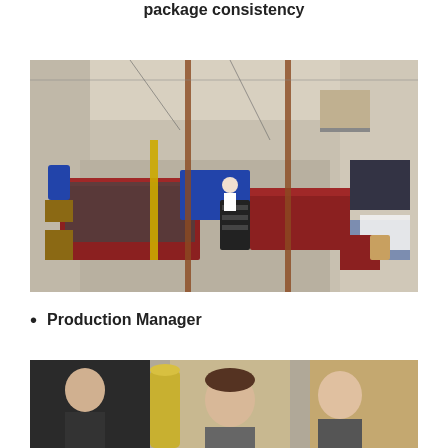package consistency
[Figure (photo): Aerial/elevated view of a manufacturing/assembly floor showing workbenches, machinery, equipment racks, tools, boxes, and workers in an industrial warehouse setting.]
Production Manager
[Figure (photo): Bottom portion of a photo showing people, possibly portraits or headshots of staff members in an office or indoor setting.]